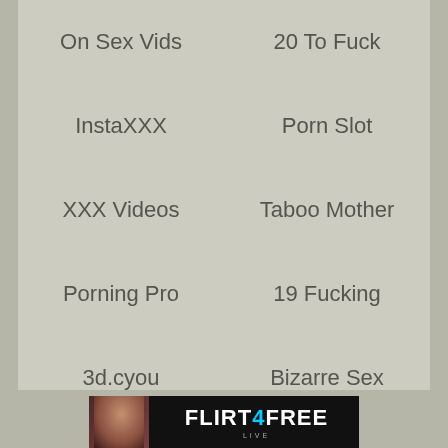On Sex Vids
20 To Fuck
InstaXXX
Porn Slot
XXX Videos
Taboo Mother
Porning Pro
19 Fucking
3d.cyou
Bizarre Sex
Porn XXX
SeXXXgram
Free XXX
Sexing Tube
Flaming Vagina
18 Fucking
XNXX Porn
XNXX Zone
Hot Sex XXX
XXX Porn Vids
Dr. Fucker
[Figure (screenshot): Flirt4Free advertisement banner with a woman's photo on the left and 'FLIRT4FREE' logo text with 'LIVE' text below]